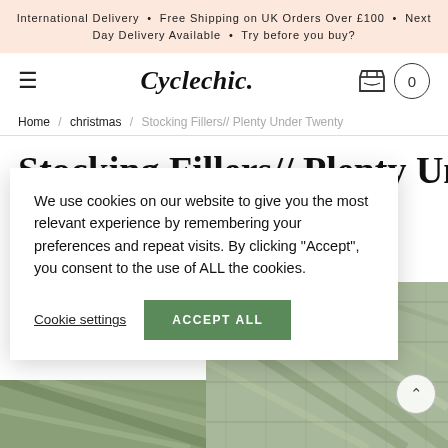International Delivery • Free Shipping on UK Orders Over £100 • Next Day Delivery Available • Try before you buy?
Cyclechic.
Home / christmas / Stocking Fillers// Plenty Under Twenty
Stocking Fillers// Plenty Under
STOCKING FILLERS
We use cookies on our website to give you the most relevant experience by remembering your preferences and repeat visits. By clicking "Accept", you consent to the use of ALL the cookies.
Cookie settings
ACCEPT ALL